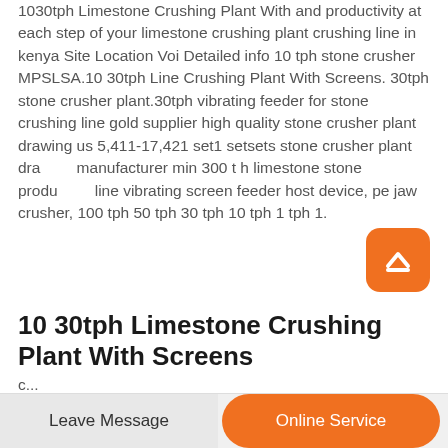1030tph Limestone Crushing Plant With and productivity at each step of your limestone crushing plant crushing line in kenya Site Location Voi Detailed info 10 tph stone crusher MPSLSA.10 30tph Line Crushing Plant With Screens. 30tph stone crusher plant.30tph vibrating feeder for stone crushing line gold supplier high quality stone crusher plant drawing us 5,411-17,421 set1 setsets stone crusher plant drawing manufacturer min 300 t h limestone stone production line vibrating screen feeder host device, pe jaw crusher, 100 tph 50 tph 30 tph 10 tph 1 tph 1.
10 30tph Limestone Crushing Plant With Screens
Leave Message
Online Service